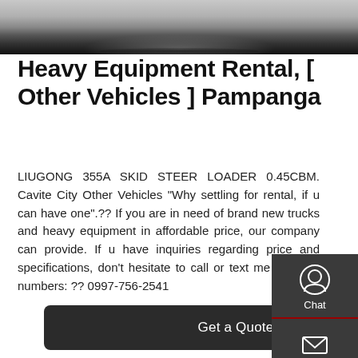[Figure (photo): Top portion of a heavy equipment / skid steer loader machine, shown from above, with a dark body and a reflection below it on a white surface.]
Heavy Equipment Rental, [ Other Vehicles ] Pampanga
LIUGONG 355A SKID STEER LOADER 0.45CBM. Cavite City Other Vehicles "Why settling for rental, if u can have one".?? If you are in need of brand new trucks and heavy equipment in affordable price, our company can provide. If u have inquiries regarding price and specifications, don't hesitate to call or text me to these numbers: ?? 0997-756-2541
Get a Quote